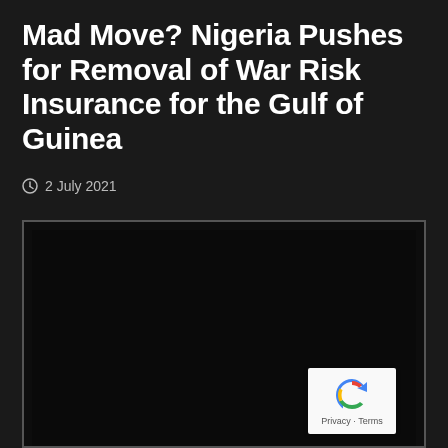Mad Move? Nigeria Pushes for Removal of War Risk Insurance for the Gulf of Guinea
2 July 2021
[Figure (photo): Dark/black image placeholder with white border frame, and reCAPTCHA Privacy/Terms badge in lower right corner]